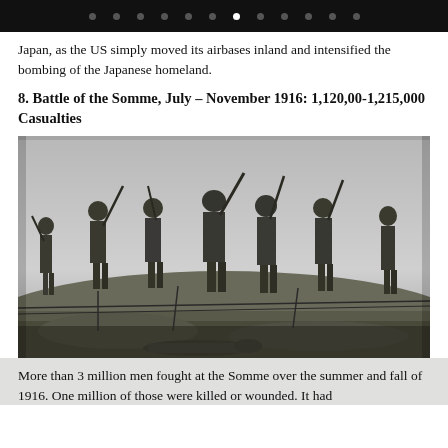• • • • • • • (active) • • • • •
Japan, as the US simply moved its airbases inland and intensified the bombing of the Japanese homeland.
8. Battle of the Somme, July – November 1916: 1,120,00-1,215,000 Casualties
[Figure (photo): Black and white photograph of World War I soldiers advancing across a battlefield at the Battle of the Somme. Soldiers carrying rifles with bayonets are walking through barbed wire and muddy terrain. A fallen soldier lies in the foreground.]
More than 3 million men fought at the Somme over the summer and fall of 1916. One million of those were killed or wounded. It had